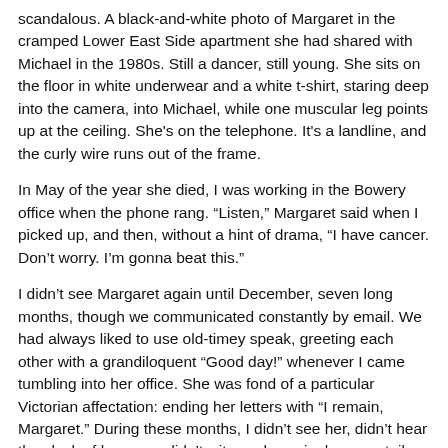scandalous. A black-and-white photo of Margaret in the cramped Lower East Side apartment she had shared with Michael in the 1980s. Still a dancer, still young. She sits on the floor in white underwear and a white t-shirt, staring deep into the camera, into Michael, while one muscular leg points up at the ceiling. She's on the telephone. It's a landline, and the curly wire runs out of the frame.
In May of the year she died, I was working in the Bowery office when the phone rang. “Listen,” Margaret said when I picked up, and then, without a hint of drama, “I have cancer. Don’t worry. I’m gonna beat this.”
I didn’t see Margaret again until December, seven long months, though we communicated constantly by email. We had always liked to use old-timey speak, greeting each other with a grandiloquent “Good day!” whenever I came tumbling into her office. She was fond of a particular Victorian affectation: ending her letters with “I remain, Margaret.” During these months, I didn’t see her, didn’t hear the clack of her gum, didn’t witness her grin, her ponytail bobbing as she moved like a spark through space. But she remained, Margaret in my inbox, Margaret on my phone, while I stepped up my hours to fill her unfillable shoes, a writer becoming a bookkeeper.